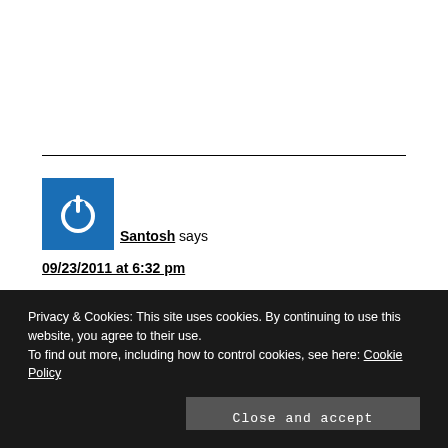[Figure (logo): Blue square icon with white power/on button symbol]
Santosh says
09/23/2011 at 6:32 pm
Privacy & Cookies: This site uses cookies. By continuing to use this website, you agree to their use.
To find out more, including how to control cookies, see here: Cookie Policy
Close and accept